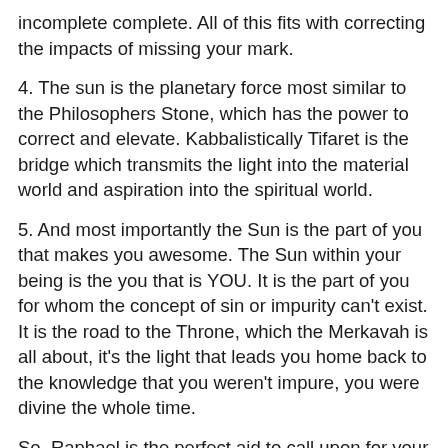incomplete complete. All of this fits with correcting the impacts of missing your mark.
4. The sun is the planetary force most similar to the Philosophers Stone, which has the power to correct and elevate. Kabbalistically Tifaret is the bridge which transmits the light into the material world and aspiration into the spiritual world.
5. And most importantly the Sun is the part of you that makes you awesome. The Sun within your being is the you that is YOU. It is the part of you for whom the concept of sin or impurity can't exist. It is the road to the Throne, which the Merkavah is all about, it's the light that leads you home back to the knowledge that you weren't impure, you were divine the whole time.
So, Raphael is the perfect aid to call upon for your spiritual purity needs. He rules over your reset button. So when you feel like the sludge is weighing you down and clogging your valves hit reset, when you're worried that you're not fit for the work you're doing (even though you are) hit reset, when you need a little elevation, or balance, or direction, hit reset. The